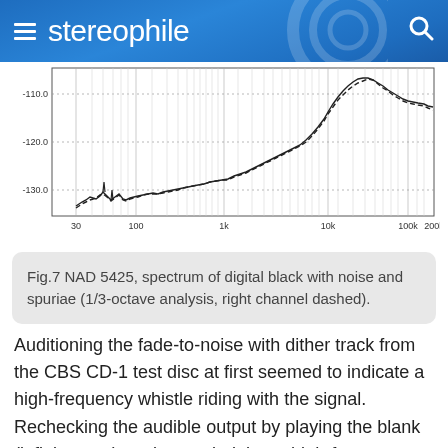stereophile
[Figure (continuous-plot): Spectrum of digital black with noise and spuriae showing frequency on x-axis from 30 Hz to 200kHz and amplitude on y-axis from -130.0 to -110.0 dB. Two lines (solid and dashed for right channel) rise from around -130 dB at low frequencies to peaks near -110 dB around 20-30kHz, then fall off.]
Fig.7 NAD 5425, spectrum of digital black with noise and spuriae (1/3-octave analysis, right channel dashed).
Auditioning the fade-to-noise with dither track from the CBS CD-1 test disc at first seemed to indicate a high-frequency whistle riding with the signal. Rechecking the audible output by playing the blank (infinity-zero) track revealed that a high-frequency